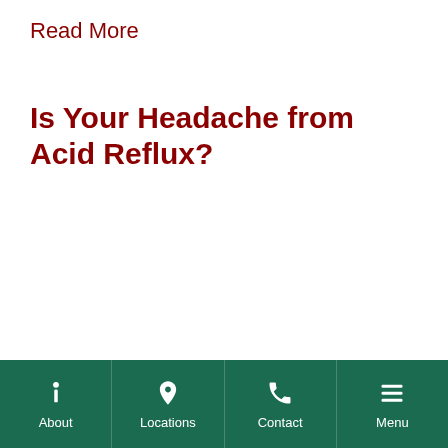Read More
Is Your Headache from Acid Reflux?
About | Locations | Contact | Menu